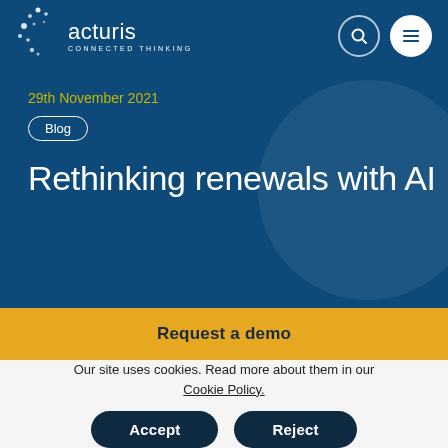[Figure (logo): Acturis logo with dots and 'CONNECTED THINKING' tagline on dark blue background]
29th November 2021
Blog
Rethinking renewals with AI
Request a demo
Our site uses cookies. Read more about them in our Cookie Policy.
Accept
Reject